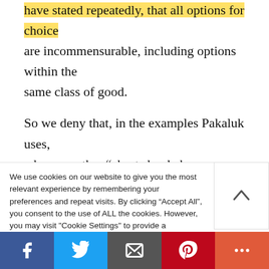have stated repeatedly, that all options for choice are incommensurable, including options within the same class of good.
So we deny that, in the examples Pakaluk uses, when a mother “aborts her baby ostensibly to promote the lives of her several living children, or [an] escaped convict . . . kills an accoster to extend his own life further . . . The relevant goods are in the same commensurable” The mother’s life is not
We use cookies on our website to give you the most relevant experience by remembering your preferences and repeat visits. By clicking “Accept All”, you consent to the use of ALL the cookies. However, you may visit “Cookie Settings” to provide a controlled consent.